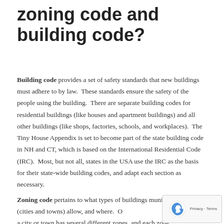zoning code and building code?
Building code provides a set of safety standards that new buildings must adhere to by law.  These standards ensure the safety of the people using the building.  There are separate building codes for residential buildings (like houses and apartment buildings) and all other buildings (like shops, factories, schools, and workplaces).  The Tiny House Appendix is set to become part of the state building code in NH and CT, which is based on the International Residential Code (IRC).  Most, but not all, states in the USA use the IRC as the basis for their state-wide building codes, and adapt each section as necessary.
Zoning code pertains to what types of buildings municipalities (cities and towns) allow, and where.  Often a city or town has several different zones, and each zone